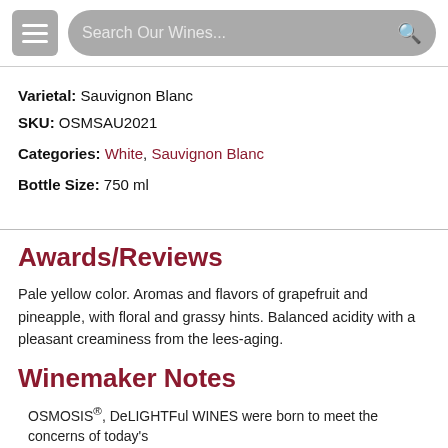Search Our Wines...
Varietal: Sauvignon Blanc
SKU: OSMSAU2021
Categories: White, Sauvignon Blanc
Bottle Size: 750 ml
Awards/Reviews
Pale yellow color. Aromas and flavors of grapefruit and pineapple, with floral and grassy hints. Balanced acidity with a pleasant creaminess from the lees-aging.
Winemaker Notes
OSMOSIS®, DeLIGHTFul WINES were born to meet the concerns of today's